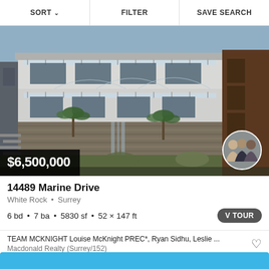SORT  FILTER  SAVE SEARCH
[Figure (photo): Exterior photo of a modern multi-story luxury home at 14489 Marine Drive, White Rock, Surrey. The building features glass balconies, stone facade, and landscaping with palm trees and ornamental grasses.]
$6,500,000
14489 Marine Drive
White Rock • Surrey
6 bd • 7 ba • 5830 sf • 52 × 147 ft
VTOUR
TEAM MCKNIGHT Louise McKnight PREC*, Ryan Sidhu, Leslie ...
Macdonald Realty (Surrey/152)